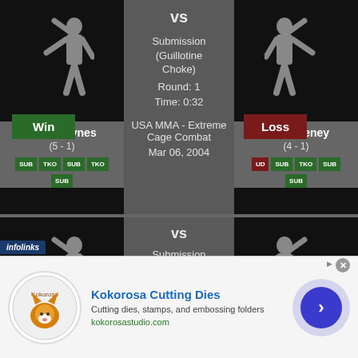[Figure (infographic): MMA fight result card showing Josh Haynes (Win) vs Kyle Keeney (Loss). Method: Submission (Guillotine Choke), Round: 1, Time: 0:32, Event: USA MMA - Extreme Cage Combat, Date: Mar 06, 2004. Fighter silhouettes shown with result badges and method badges (SUB, TKO, UD).]
vs
Submission (Guillotine Choke)
Round: 1
Time: 0:32
Josh Haynes
(5 - 1)
Kyle Keeney
(4 - 1)
USA MMA - Extreme Cage Combat
Mar 06, 2004
[Figure (infographic): Second MMA fight result card showing Win vs Loss with Submission, Round: 1, Time: 0:32]
vs
Submission
Round: 1
Time: 0:32
[Figure (infographic): Advertisement for Kokorosa Cutting Dies - cutting dies, stamps, and embossing folders - kokorosastudio.com]